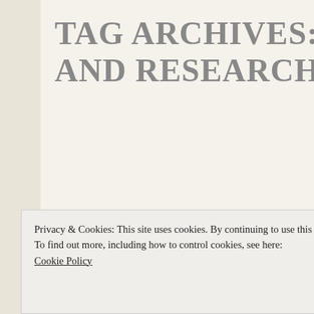TAG ARCHIVES: AR… AND RESEARCH
The Casual Silencing of Wome…
POSTED ON JANUARY 18, 2020
Privacy & Cookies: This site uses cookies. By continuing to use this website, you agree to their use.
To find out more, including how to control cookies, see here: Cookie Policy
Close and accept